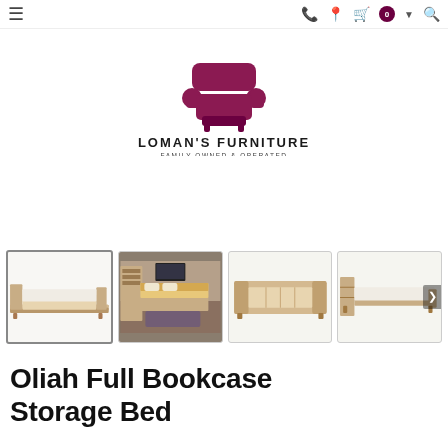Loman's Furniture - navigation bar
[Figure (logo): Loman's Furniture logo with a maroon/dark red armchair illustration above the text 'LOMAN'S FURNITURE' and subtitle 'FAMILY OWNED & OPERATED']
[Figure (photo): Four product thumbnail images of the Oliah Full Bookcase Storage Bed. First thumbnail (active/selected) shows the bed frame from the side. Second shows a styled bedroom scene. Third shows the bare bed frame from above/front. Fourth shows the bed from the side with mattress.]
Oliah Full Bookcase Storage Bed